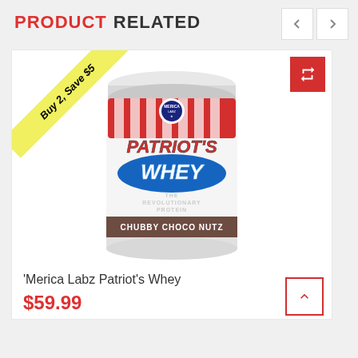PRODUCT RELATED
[Figure (photo): A large white tub of 'Merica Labz Patriot's Whey protein powder in Chubby Choco Nutz flavor, with a patriotic red, white and blue design on the label featuring 'PATRIOT'S WHEY - THE REVOLUTIONARY PROTEIN'. A yellow diagonal banner ribbon reads 'Buy 2, Save $5'. A red refresh/compare button is in the top-right corner of the card.]
'Merica Labz Patriot's Whey
$59.99